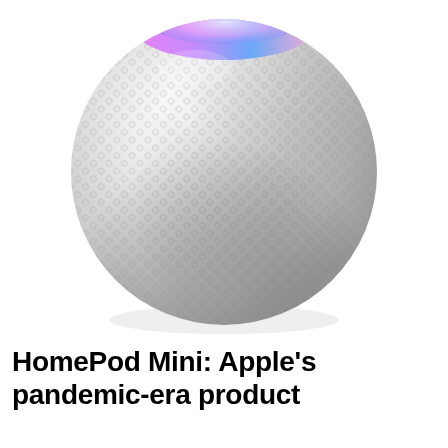[Figure (photo): Apple HomePod Mini smart speaker — a spherical white mesh-fabric device with a colorful glowing top (pink, blue, purple Siri animation ring)]
HomePod Mini: Apple's pandemic-era product